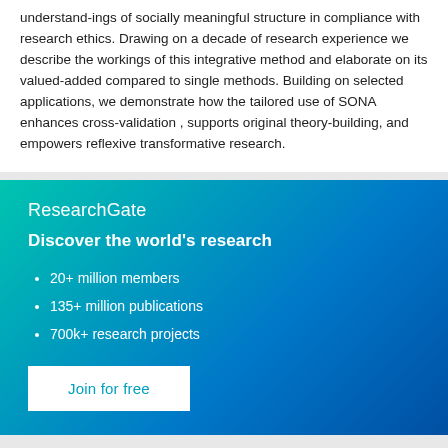understand-ings of socially meaningful structure in compliance with research ethics. Drawing on a decade of research experience we describe the workings of this integrative method and elaborate on its valued-added compared to single methods. Building on selected applications, we demonstrate how the tailored use of SONA enhances cross-validation , supports original theory-building, and empowers reflexive transformative research.
ResearchGate
Discover the world's research
20+ million members
135+ million publications
700k+ research projects
Join for free